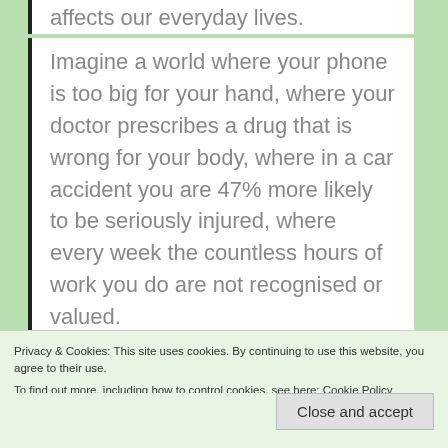affects our everyday lives.
Imagine a world where your phone is too big for your hand, where your doctor prescribes a drug that is wrong for your body, where in a car accident you are 47% more likely to be seriously injured, where every week the countless hours of work you do are not recognised or valued.
Privacy & Cookies: This site uses cookies. By continuing to use this website, you agree to their use.
To find out more, including how to control cookies, see here: Cookie Policy
Close and accept
world largely built for and by men, we